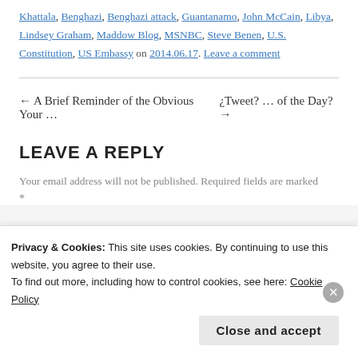Khattala, Benghazi, Benghazi attack, Guantanamo, John McCain, Libya, Lindsey Graham, Maddow Blog, MSNBC, Steve Benen, U.S. Constitution, US Embassy on 2014.06.17. Leave a comment
← A Brief Reminder of the Obvious Your … ¿Tweet? … of the Day? →
LEAVE A REPLY
Your email address will not be published. Required fields are marked *
Privacy & Cookies: This site uses cookies. By continuing to use this website, you agree to their use. To find out more, including how to control cookies, see here: Cookie Policy
Close and accept